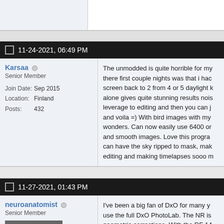[top strip / partial previous post]
11-24-2021, 06:49 PM
Karsaa
Senior Member
Join Date: Sep 2015
Location: Finland
Posts: 432
The unmodded is quite horrible for my... there first couple nights was that i ha... screen back to 2 from 4 or 5 daylight h... alone gives quite stunning results nois... leverage to editing and then you can j... and voila =) With bird images with my... wonders. Can now easily use 6400 or... and smooth images. Love this progra... can have the sky ripped to mask, mak... editing and making timelapses sooo m...
11-27-2021, 01:43 PM
neuroanatomist
Senior Member
[Figure (photo): Brain MRI sagittal scan avatar image in black and white]
I've been a big fan of DxO for many y... use the full DxO PhotoLab. The NR is... geometric corrections. With the RF 14... with DxO, whereas Adobe gives just v... (a few pixels), and Canon DPP gives ... than 14mm (all with the EF 11-24 at 1...